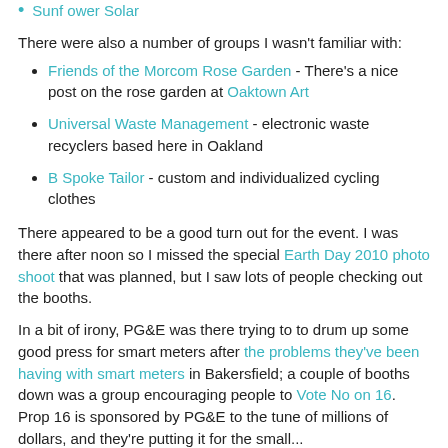Sunpower Solar
There were also a number of groups I wasn't familiar with:
Friends of the Morcom Rose Garden - There's a nice post on the rose garden at Oaktown Art
Universal Waste Management - electronic waste recyclers based here in Oakland
B Spoke Tailor - custom and individualized cycling clothes
There appeared to be a good turn out for the event. I was there after noon so I missed the special Earth Day 2010 photo shoot that was planned, but I saw lots of people checking out the booths.
In a bit of irony, PG&E was there trying to to drum up some good press for smart meters after the problems they've been having with smart meters in Bakersfield; a couple of booths down was a group encouraging people to Vote No on 16. Prop 16 is sponsored by PG&E to the tune of millions of dollars, and they're putting it for the small...